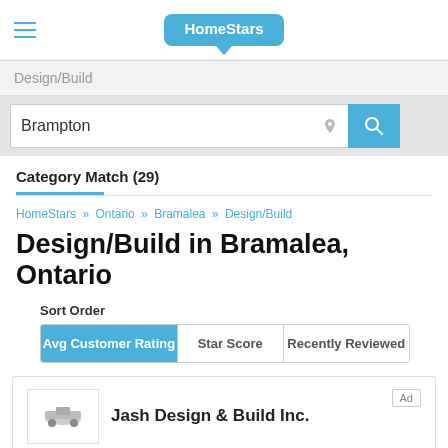[Figure (screenshot): HomeStars website header with hamburger menu and HomeStars speech-bubble logo]
Design/Build
Brampton
Category Match (29)
HomeStars » Ontario » Bramalea » Design/Build
Design/Build in Bramalea, Ontario
Sort Order
Avg Customer Rating | Star Score | Recently Reviewed
Jash Design & Build Inc.
97%  (17 reviews)